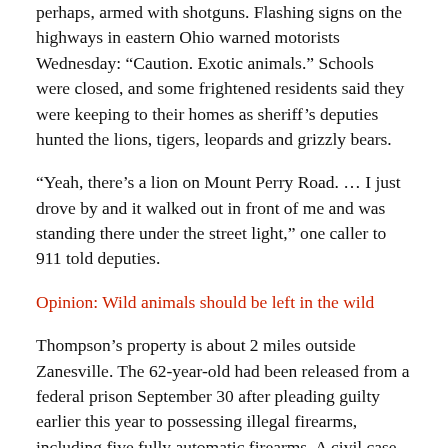perhaps, armed with shotguns. Flashing signs on the highways in eastern Ohio warned motorists Wednesday: “Caution. Exotic animals.” Schools were closed, and some frightened residents said they were keeping to their homes as sheriff’s deputies hunted the lions, tigers, leopards and grizzly bears.
“Yeah, there’s a lion on Mount Perry Road. … I just drove by and it walked out in front of me and was standing there under the street light,” one caller to 911 told deputies.
Opinion: Wild animals should be left in the wild
Thompson’s property is about 2 miles outside Zanesville. The 62-year-old had been released from a federal prison September 30 after pleading guilty earlier this year to possessing illegal firearms, including five fully automatic firearms. A civil case seeking forfeiture of firearms was pending, according to the U.S. attorney’s office in Ohio’s